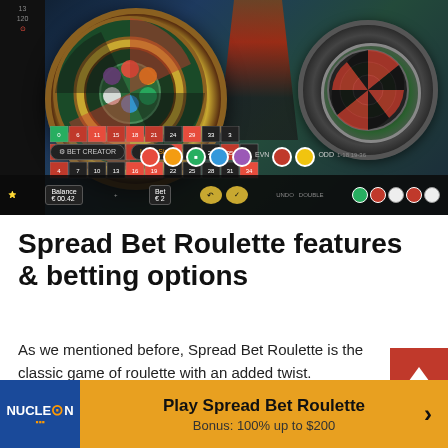[Figure (screenshot): Live casino roulette game interface showing two roulette wheels - a large colorful one on the left and a black one on the right, with a betting grid at the bottom. A dealer in a red outfit is visible. The interface shows balance, betting options, and game controls.]
Spread Bet Roulette features & betting options
As we mentioned before, Spread Bet Roulette is the classic game of roulette with an added twist.
The game background is dark, with shiny wood and